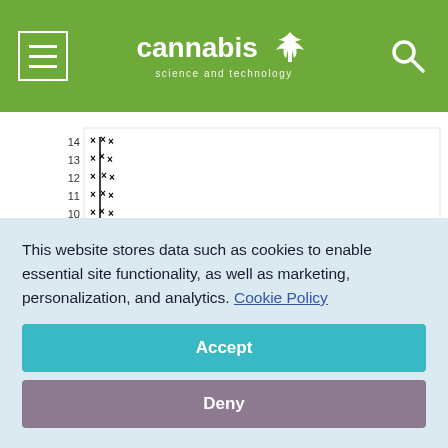cannabis science and technology
[Figure (continuous-plot): Scatter/dot plot showing THC (%) on the y-axis ranging from approximately 4 to 14, with a cluster of data points (x markers) along the left vertical axis around y=4-14, three downward triangle data points scattered in the middle-right area at roughly y=5.2, y=4.8, y=4.4, and a diagonal line rising from lower-left to upper-right representing a trend line.]
This website stores data such as cookies to enable essential site functionality, as well as marketing, personalization, and analytics. Cookie Policy
Accept
Deny